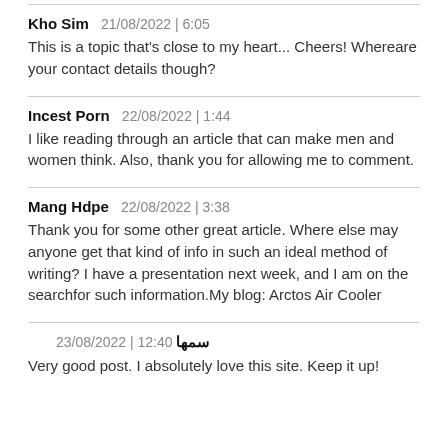Kho Sim   21/08/2022 | 6:05
This is a topic that's close to my heart... Cheers! Whereare your contact details though?
Incest Porn   22/08/2022 | 1:44
I like reading through an article that can make men and women think. Also, thank you for allowing me to comment.
Mang Hdpe   22/08/2022 | 3:38
Thank you for some other great article. Where else may anyone get that kind of info in such an ideal method of writing? I have a presentation next week, and I am on the searchfor such information.My blog: Arctos Air Cooler
سمها   23/08/2022 | 12:40
Very good post. I absolutely love this site. Keep it up!